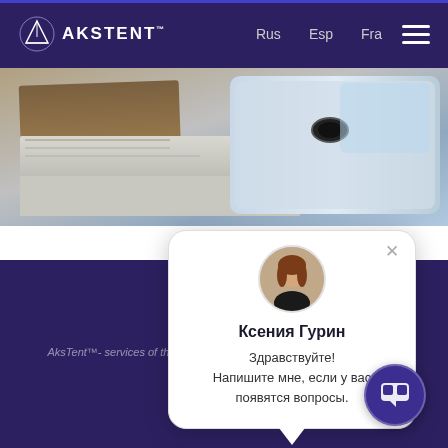[Figure (screenshot): AksTent website header with logo, navigation links (Rus, Esp, Fra), and hamburger menu on dark purple background]
[Figure (photo): Close-up photo of metal construction panels/sheets with bolt hardware, showing layered building materials]
[Figure (screenshot): Chat popup widget showing avatar of Ksenia Gurin with greeting message in Russian: Здравствуйте! Напишите мне, если у вас появятся вопросы.]
Ксения Гурин
Здравствуйте!
Напишите мне, если у вас появятся вопросы.
AksTent™- services of the sale and rental of awning structures and tents